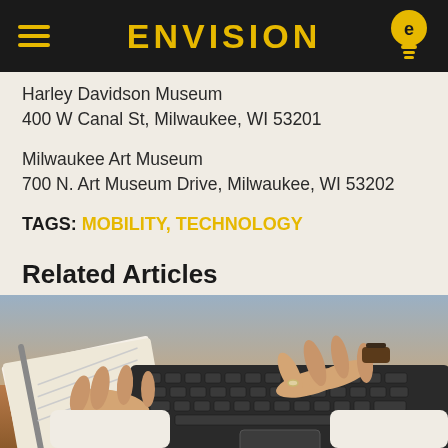ENVISION
Harley Davidson Museum
400 W Canal St, Milwaukee, WI 53201
Milwaukee Art Museum
700 N. Art Museum Drive, Milwaukee, WI 53202
TAGS: MOBILITY, TECHNOLOGY
Related Articles
[Figure (photo): Close-up of person's hands typing on a laptop keyboard, with a notebook visible in the background on a wooden desk]